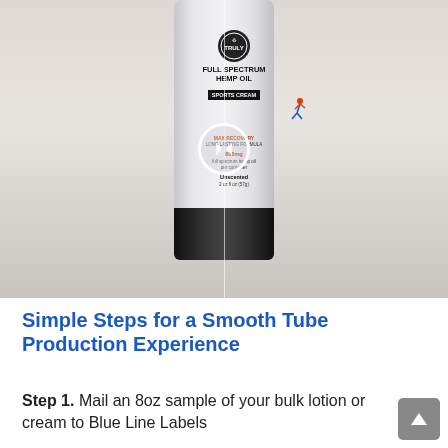[Figure (photo): A tube of Full Spectrum Hemp Oil Sports Cream with a black cap, shown split down the middle with a play/pause button overlay in the center. The tube label reads: FULL SPECTRUM HEMP OIL, SPORTS CREAM, MAX RECOVERY, LONG LASTING FORMULA, 800mg, full spectrum hemp oil per container, Unscented, 2 oz fl oz (57g). Background is light grey/beige.]
Simple Steps for a Smooth Tube Production Experience
Step 1. Mail an 8oz sample of your bulk lotion or cream to Blue Line Labels